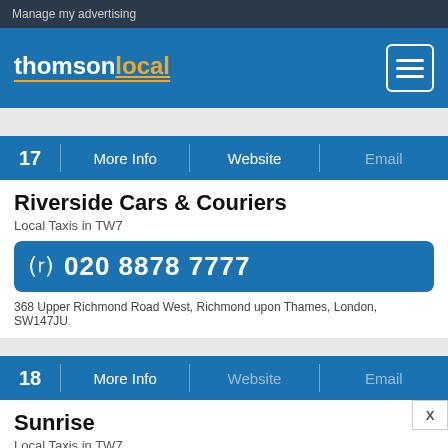Manage my advertising
[Figure (logo): thomsonlocal logo with menu icon]
17  More Info  |  Website  |  Email
Riverside Cars & Couriers
Local Taxis in TW7
020 8878 7777
368 Upper Richmond Road West, Richmond upon Thames, London, SW147JU
18  More Info  |  Website  |  Email
Sunrise
Local Taxis in TW7
[Figure (infographic): Did you know??? thomsonlocal advertisement banner with megaphone graphic]